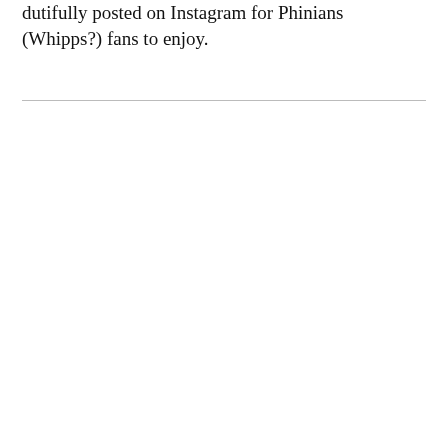dutifully posted on Instagram for Phinians (Whipps?) fans to enjoy.